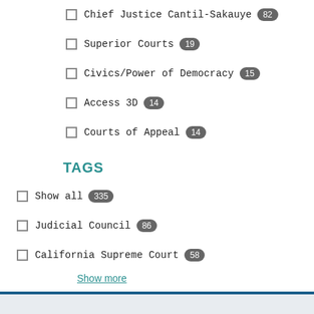Chief Justice Cantil-Sakauye 82
Superior Courts 19
Civics/Power of Democracy 15
Access 3D 14
Courts of Appeal 14
TAGS
Show all 335
Judicial Council 86
California Supreme Court 58
Show more